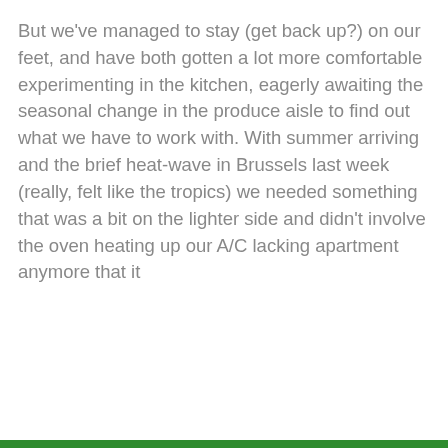But we've managed to stay (get back up?) on our feet, and have both gotten a lot more comfortable experimenting in the kitchen, eagerly awaiting the seasonal change in the produce aisle to find out what we have to work with. With summer arriving and the brief heat-wave in Brussels last week (really, felt like the tropics) we needed something that was a bit on the lighter side and didn't involve the oven heating up our A/C lacking apartment anymore that it
Privacy & Cookies: This site uses cookies. By continuing to use this website, you agree to their use.
To find out more, including how to control cookies, see here: Cookie Policy